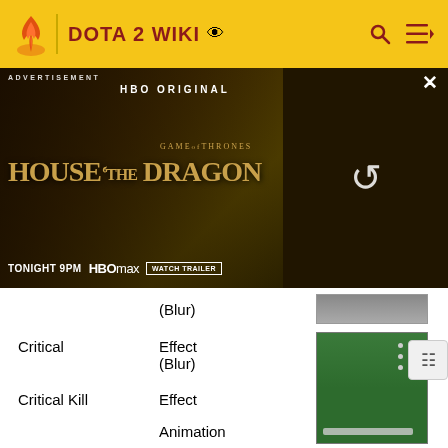DOTA 2 WIKI
[Figure (screenshot): HBO Original advertisement banner for House of the Dragon. Shows text: ADVERTISEMENT, HBO ORIGINAL, GAME OF THRONES HOUSE OF THE DRAGON TONIGHT 9PM | HBO max | WATCH TRAILER. Right side shows a loading/refresh circle icon on dark background.]
|  | (Blur) |
| --- | --- |
| Critical | Effect
(Blur) | [image] |
| Critical Kill | Effect |  |
|  | Animation |  |
|  | Sound | • ► Kill stinger
• ► Full |